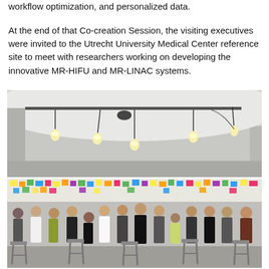workflow optimization, and personalized data.
At the end of that Co-creation Session, the visiting executives were invited to the Utrecht University Medical Center reference site to meet with researchers working on developing the innovative MR-HIFU and MR-LINAC systems.
[Figure (photo): Two photographs stacked vertically. Top photo shows an indoor room with hanging exposed bulb lights, light grey walls, and a curved white ceiling. Bottom photo shows a group of approximately 14 people posing together in a room with colorful sticky notes on a wall behind them and metal bar stools in the foreground.]